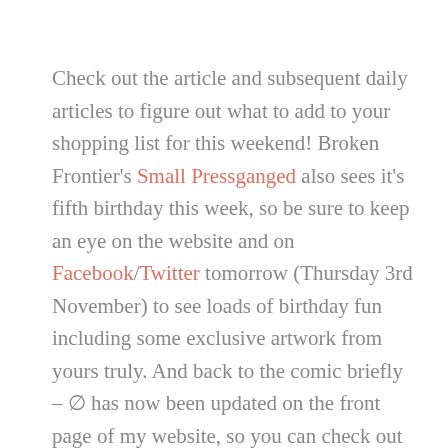Check out the article and subsequent daily articles to figure out what to add to your shopping list for this weekend! Broken Frontier's Small Pressganged also sees it's fifth birthday this week, so be sure to keep an eye on the website and on Facebook/Twitter tomorrow (Thursday 3rd November) to see loads of birthday fun including some exclusive artwork from yours truly. And back to the comic briefly – ∅ has now been updated on the front page of my website, so you can check out some of the information there and get the link to all the blog posts detailing its creation – and watch out for next week's blog update for a full breakdown of the release. I'll also be selling the usual suspects at Thought Bubble this weekend, including the newest Sneaky Business, this summer's big release Njálla (snowy landscapes and